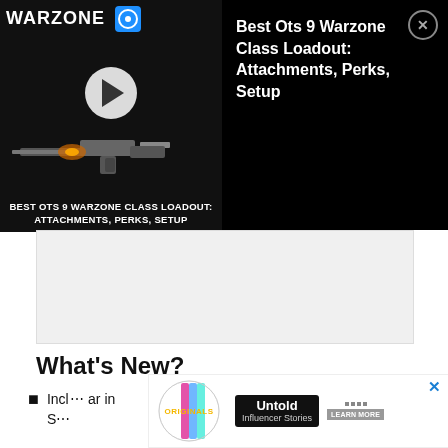[Figure (screenshot): Video thumbnail for 'Best Ots 9 Warzone Class Loadout: Attachments, Perks, Setup' showing a gun on dark background with Warzone logo and play button]
Best Ots 9 Warzone Class Loadout: Attachments, Perks, Setup
[Figure (other): Grey advertisement content area placeholder]
What's New?
Incl… ar in S…
[Figure (screenshot): Bottom advertisement banner showing Originals logo, Untold Influencer Stories with Learn More button]